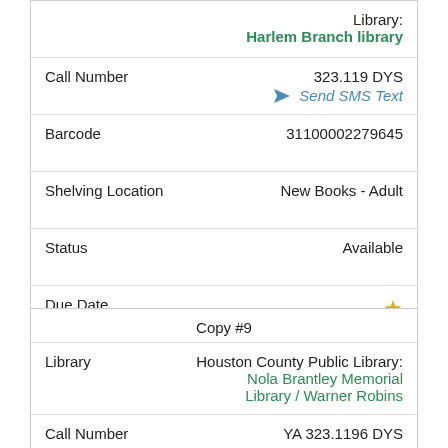| Library: | Harlem Branch library |
| Call Number | 323.119 DYS
Send SMS Text |
| Barcode | 31100002279645 |
| Shelving Location | New Books - Adult |
| Status | Available |
| Due Date | ★ |
| Copy #9 |
| --- |
| Library | Houston County Public Library:
Nola Brantley Memorial Library / Warner Robins |
| Call Number | YA 323.1196 DYS |